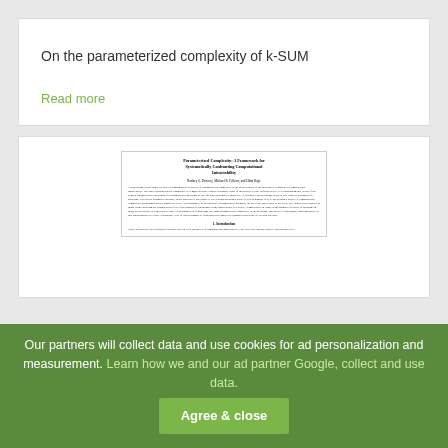On the parameterized complexity of k-SUM
Read more
[Figure (screenshot): A preview thumbnail of a scientific paper titled 'Parameterized Complexity: A Framework for Systematically Confronting Computational Intractability' with authors and abstract text visible, followed by the beginning of Section 1 Introduction.]
Our partners will collect data and use cookies for ad personalization and measurement. Learn how we and our ad partner Google, collect and use data. Agree & close